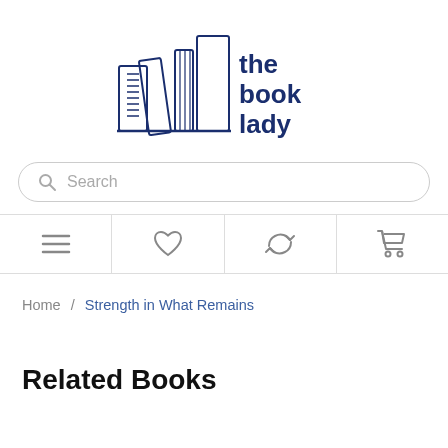[Figure (logo): The Book Lady logo with illustrated books and text 'the book lady' in dark navy blue]
Search
[Figure (infographic): Navigation bar with four icons: hamburger menu, heart/wishlist, refresh/exchange arrows, and shopping cart]
Home / Strength in What Remains
Related Books